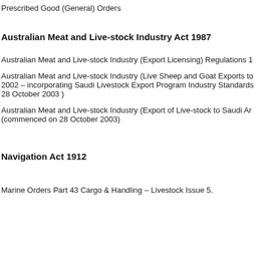Prescribed Good (General) Orders
Australian Meat and Live-stock Industry Act 1987
Australian Meat and Live-stock Industry (Export Licensing) Regulations 1
Australian Meat and Live-stock Industry (Live Sheep and Goat Exports to 2002 – incorporating Saudi Livestock Export Program Industry Standards 28 October 2003 )
Australian Meat and Live-stock Industry (Export of Live-stock to Saudi Ar (commenced on 28 October 2003)
Navigation Act 1912
Marine Orders Part 43 Cargo & Handling – Livestock Issue 5.